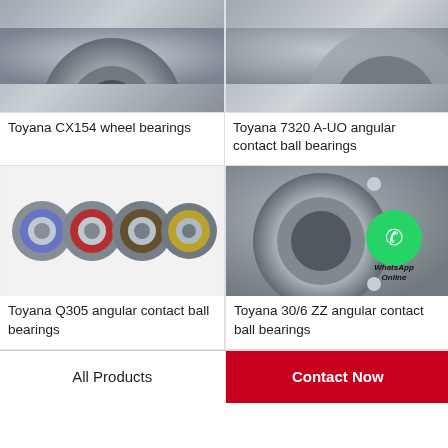[Figure (photo): Toyana CX154 wheel bearing close-up, greyscale metallic]
[Figure (photo): Toyana 7320 A-UO angular contact ball bearing, greyscale metallic]
Toyana CX154 wheel bearings
Toyana 7320 A-UO angular contact ball bearings
[Figure (photo): Four Toyana Q305 angular contact ball bearings in a row with blue, red, brown, and gold seals]
[Figure (photo): Toyana 30/6 ZZ angular contact ball bearing with WhatsApp Online overlay]
Toyana Q305 angular contact ball bearings
Toyana 30/6 ZZ angular contact ball bearings
All Products
Contact Now